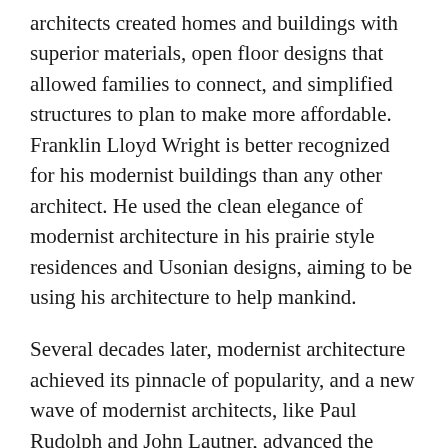architects created homes and buildings with superior materials, open floor designs that allowed families to connect, and simplified structures to plan to make more affordable. Franklin Lloyd Wright is better recognized for his modernist buildings than any other architect. He used the clean elegance of modernist architecture in his prairie style residences and Usonian designs, aiming to be using his architecture to help mankind.
Several decades later, modernist architecture achieved its pinnacle of popularity, and a new wave of modernist architects, like Paul Rudolph and John Lautner, advanced the style. After a decade, the style fell out of favor and was replaced by postmodernism. During this period, architecture returned to unnecessarily ornate constructions and narrow, closed-off spaces. Modernist architecture did not make a resurgence until the early 2000s.